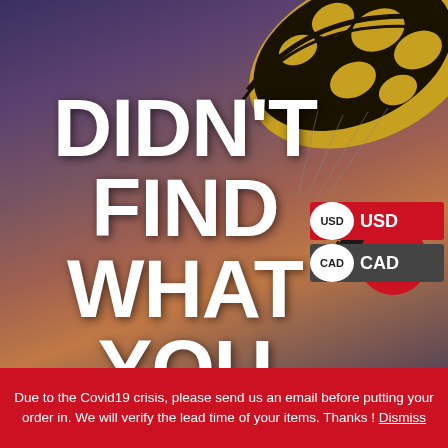[Figure (photo): Background photo of a paraglider canopy (yellow and black) against a dramatic dusk sky with purple, orange, and red hues. A silhouette of a person paragliding is visible in the lower right.]
DIDN'T FIND WHAT YOU
[Figure (infographic): Currency selector UI showing two rows: USD row with white circular badge labeled 'USD' on red background, and CAD row with white circular badge labeled 'CAD' on dark gray background.]
Due to the Covid19 crisis, please send us an email before putting your order in. We will verify the lead time of your items. Thanks ! Dismiss